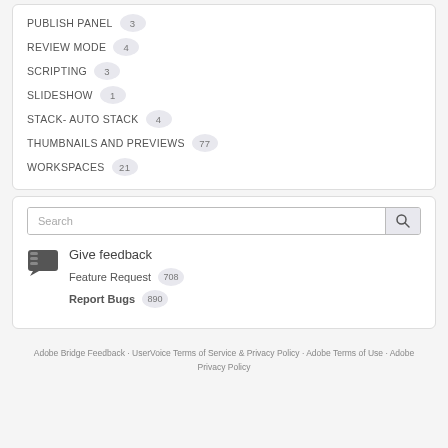PUBLISH PANEL 3
REVIEW MODE 4
SCRIPTING 3
SLIDESHOW 1
STACK- AUTO STACK 4
THUMBNAILS AND PREVIEWS 77
WORKSPACES 21
Search
Give feedback
Feature Request 708
Report Bugs 890
Adobe Bridge Feedback · UserVoice Terms of Service & Privacy Policy · Adobe Terms of Use · Adobe Privacy Policy